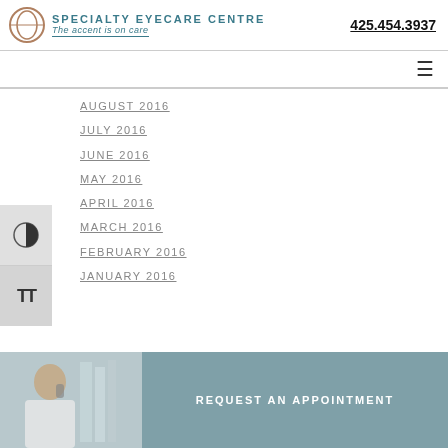SPECIALTY EYECARE CENTRE | The accent is on care | 425.454.3937
AUGUST 2016
JULY 2016
JUNE 2016
MAY 2016
APRIL 2016
MARCH 2016
FEBRUARY 2016
JANUARY 2016
[Figure (photo): Woman in scrubs on the phone, blurred office background]
REQUEST AN APPOINTMENT